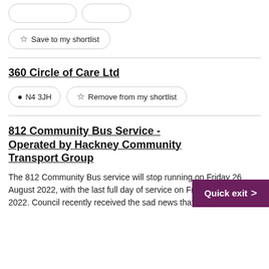Save to my shortlist
360 Circle of Care Ltd
N4 3JH
Remove from my shortlist
812 Community Bus Service - Operated by Hackney Community Transport Group
The 812 Community Bus service will stop running on Friday 26 August 2022, with the last full day of service on Friday 26 August 2022. Council recently received the sad news that